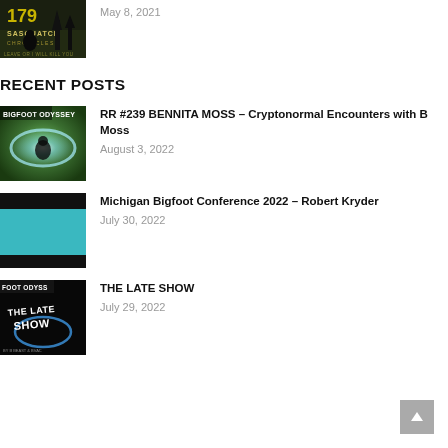[Figure (photo): Sasquatch Chronicles podcast episode 179 thumbnail with dark forest background]
May 8, 2021
RECENT POSTS
[Figure (photo): Bigfoot Odyssey thumbnail with dark forest and glowing circular light]
RR #239 BENNITA MOSS – Cryptonormal Encounters with B Moss
August 3, 2022
[Figure (photo): Michigan Bigfoot Conference 2022 thumbnail with teal/blue background]
Michigan Bigfoot Conference 2022 – Robert Kryder
July 30, 2022
[Figure (photo): Foot Odyssey The Late Show thumbnail with dark background and neon text]
THE LATE SHOW
July 29, 2022